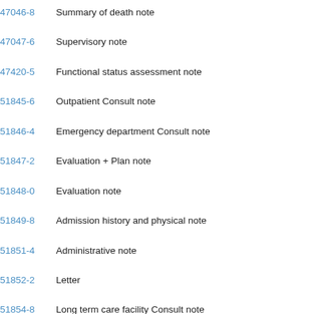47046-8  Summary of death note
47047-6  Supervisory note
47420-5  Functional status assessment note
51845-6  Outpatient Consult note
51846-4  Emergency department Consult note
51847-2  Evaluation + Plan note
51848-0  Evaluation note
51849-8  Admission history and physical note
51851-4  Administrative note
51852-2  Letter
51854-8  Long term care facility Consult note
51855-5  Patient Note